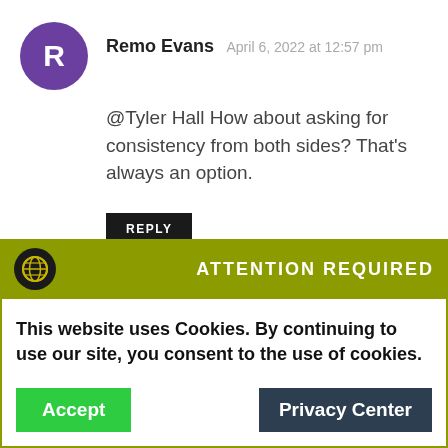Remo Evans  April 6, 2022 at 12:57 pm
@Tyler Hall How about asking for consistency from both sides? That's always an option.
REPLY
ATTENTION REQUIRED
This website uses Cookies. By continuing to use our site, you consent to the use of cookies.
Accept
Privacy Center